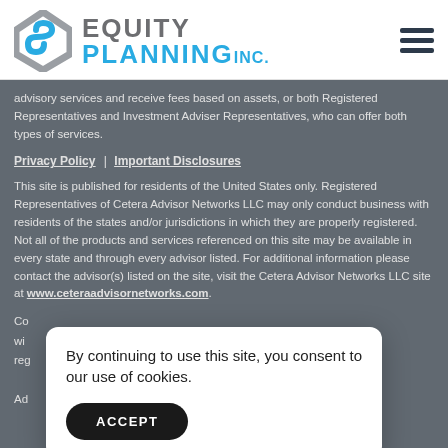EQUITY PLANNING INC. [logo header with hamburger menu]
advisory services and receive fees based on assets, or both Registered Representatives and Investment Adviser Representatives, who can offer both types of services.
Privacy Policy | Important Disclosures
This site is published for residents of the United States only. Registered Representatives of Cetera Advisor Networks LLC may only conduct business with residents of the states and/or jurisdictions in which they are properly registered. Not all of the products and services referenced on this site may be available in every state and through every advisor listed. For additional information please contact the advisor(s) listed on the site, visit the Cetera Advisor Networks LLC site at www.ceteraadvisornetworks.com.
Co... wi... reg... Ad...
By continuing to use this site, you consent to our use of cookies.
ACCEPT